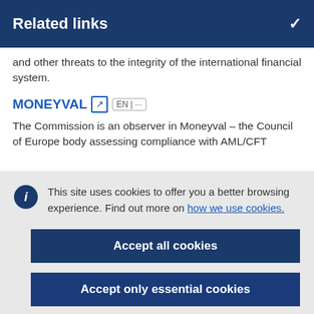Related links
and other threats to the integrity of the international financial system.
MONEYVAL
The Commission is an observer in Moneyval – the Council of Europe body assessing compliance with AML/CFT
This site uses cookies to offer you a better browsing experience. Find out more on how we use cookies.
Accept all cookies
Accept only essential cookies